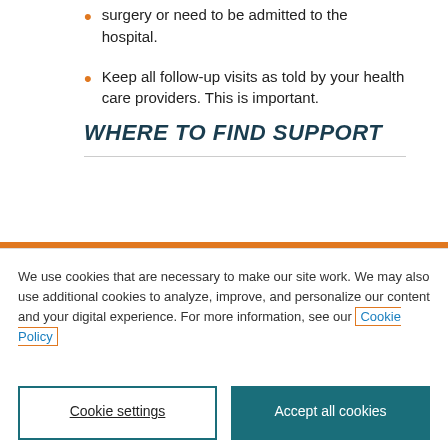surgery or need to be admitted to the hospital.
Keep all follow-up visits as told by your health care providers. This is important.
WHERE TO FIND SUPPORT
We use cookies that are necessary to make our site work. We may also use additional cookies to analyze, improve, and personalize our content and your digital experience. For more information, see our Cookie Policy
Cookie settings
Accept all cookies